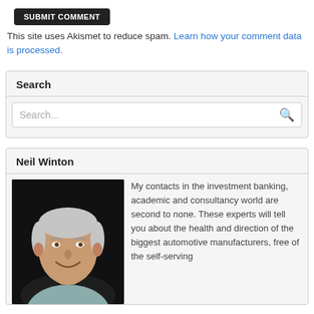[Figure (other): Dark rounded button with white text reading 'SUBMIT COMMENT']
This site uses Akismet to reduce spam. Learn how your comment data is processed.
Search
Search...
Neil Winton
[Figure (photo): Headshot photo of Neil Winton, a smiling middle-aged man with grey-white hair, wearing a light blue collared shirt, against a dark background.]
My contacts in the investment banking, academic and consultancy world are second to none. These experts will tell you about the health and direction of the biggest automotive manufacturers, free of the self-serving